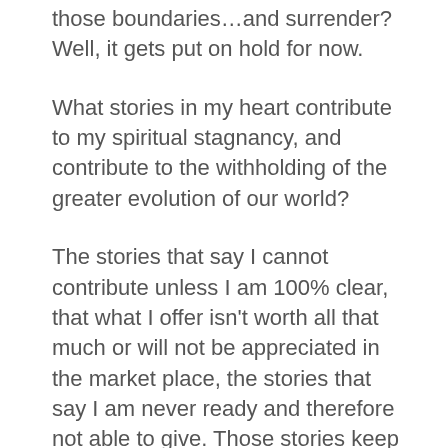those boundaries…and surrender? Well, it gets put on hold for now.
What stories in my heart contribute to my spiritual stagnancy, and contribute to the withholding of the greater evolution of our world?
The stories that say I cannot contribute unless I am 100% clear, that what I offer isn't worth all that much or will not be appreciated in the market place, the stories that say I am never ready and therefore not able to give. Those stories keep me stagnant and wallowing in my own sense of emptiness. Getting stuck on the how and getting stuck in the mental figuring out of the big “how” while the heart is holding out the flower of her gift and often there is no one to receive it, because often I am the first one who is missing. Ah, heart, I am sorry. The story runs